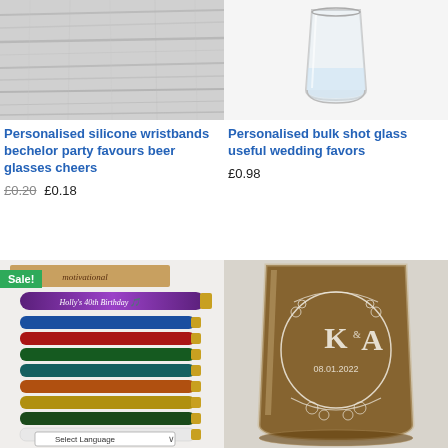[Figure (photo): Grey wood texture surface background]
[Figure (photo): Clear shot glass with water, plain background]
Personalised silicone wristbands bechelor party favours beer glasses cheers
£0.20 £0.18
Personalised bulk shot glass useful wedding favors
£0.98
[Figure (photo): Sale badge on personalised pens in various colors with birthday engraving, and a Select Language dropdown]
[Figure (photo): Personalised shot glass engraved with K&A monogram, floral wreath, and date 08.01.2022]